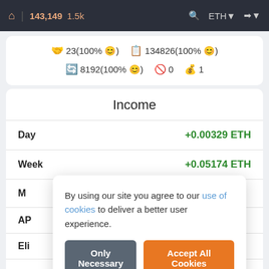🏠 | 143,149  1.5k   🔍  ETH  →
23(100% 😊)  134826(100% 😊)  8192(100% 😊)  🚫 0  💼 1
Income
|  |  |
| --- | --- |
| Day | +0.00329 ETH |
| Week | +0.05174 ETH |
| M… |  |
| AP… |  |
| Eli… |  |
| Active since | Jan 7, 2021, 11:53 AM |
By using our site you agree to our use of cookies to deliver a better user experience.
Only Necessary   Accept All Cookies